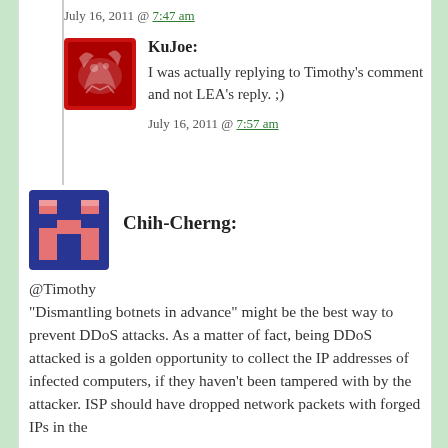July 16, 2011 @ 7:47 am
KuJoe: I was actually replying to Timothy’s comment and not LEA’s reply. ;)
July 16, 2011 @ 7:57 am
Chih-Cherng: @Timothy “Dismantling botnets in advance” might be the best way to prevent DDoS attacks. As a matter of fact, being DDoS attacked is a golden opportunity to collect the IP addresses of infected computers, if they haven’t been tampered with by the attacker. ISP should have dropped network packets with forged IPs in the